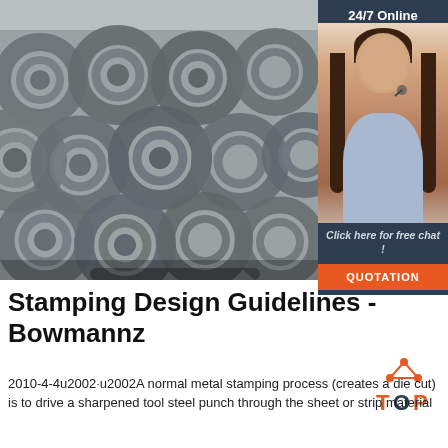[Figure (photo): Stacked metal wire coils/rolls in an industrial setting, shown in black and white/grey tones. A sidebar on the right shows a customer service representative wearing a headset with text '24/7 Online', 'Click here for free chat!', and an orange 'QUOTATION' button.]
Stamping Design Guidelines - Bowmannz
[Figure (logo): Orange and dark 'TOP' logo with triangle/arrow shapes above the text]
2010-4-4u2002·u2002A normal metal stamping process (creates a die cut) is to drive a sharpened tool steel punch through the sheet or strip material